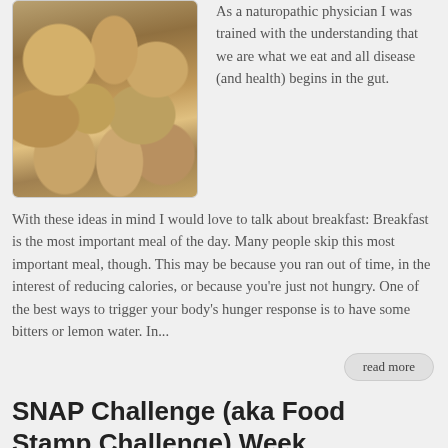[Figure (photo): Muffin tin tray with egg/food cups being prepared in a kitchen setting]
As a naturopathic physician I was trained with the understanding that we are what we eat and all disease (and health) begins in the gut. With these ideas in mind I would love to talk about breakfast: Breakfast is the most important meal of the day. Many people skip this most important meal, though. This may be because you ran out of time, in the interest of reducing calories, or because you’re just not hungry. One of the best ways to trigger your body’s hunger response is to have some bitters or lemon water. In...
read more
SNAP Challenge (aka Food Stamp Challenge) Week